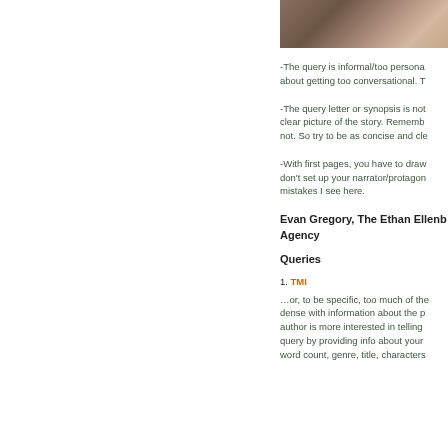[Figure (photo): Partial photo of a person, cropped, showing hair and shoulder at top right of page]
-The query is informal/too personal. T about getting too conversational. T
-The query letter or synopsis is not clear picture of the story. Rememb not. So try to be as concise and cl
-With first pages, you have to draw don't set up your narrator/protagon mistakes I see here.
Evan Gregory, The Ethan Ellenb Agency
Queries
1. TMI
…or, to be specific, too much of th dense with information about the p author is more interested in telling query by providing info about your word count, genre, title, characters